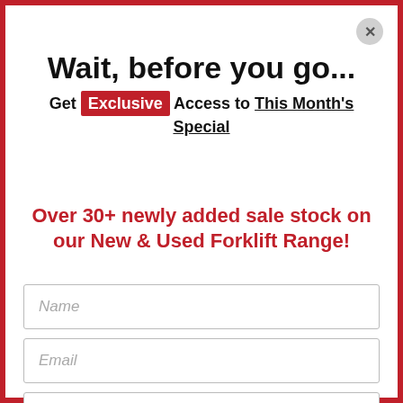Wait, before you go...
Get Exclusive Access to This Month's Special
Over 30+ newly added sale stock on our New & Used Forklift Range!
Name
Email
Phone